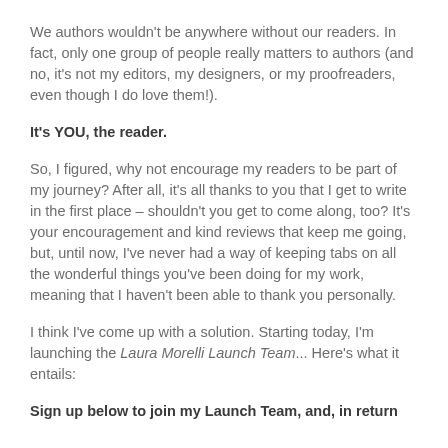We authors wouldn't be anywhere without our readers. In fact, only one group of people really matters to authors (and no, it's not my editors, my designers, or my proofreaders, even though I do love them!).
It's YOU, the reader.
So, I figured, why not encourage my readers to be part of my journey? After all, it's all thanks to you that I get to write in the first place – shouldn't you get to come along, too? It's your encouragement and kind reviews that keep me going, but, until now, I've never had a way of keeping tabs on all the wonderful things you've been doing for my work, meaning that I haven't been able to thank you personally.
I think I've come up with a solution. Starting today, I'm launching the Laura Morelli Launch Team... Here's what it entails:
Sign up below to join my Launch Team, and, in return